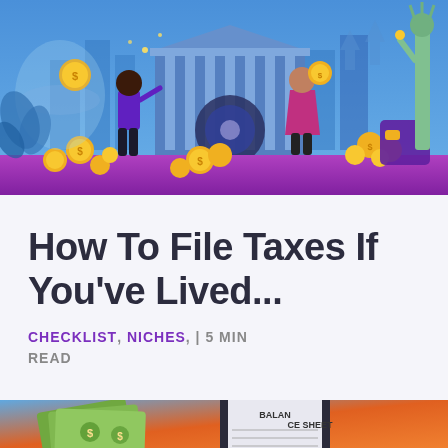[Figure (illustration): Colorful financial illustration showing two figures (a man in purple and a woman in pink) surrounded by gold coins, a bank building with columns, a safe, and the Statue of Liberty on a purple/blue background]
How To File Taxes If You've Lived...
CHECKLIST, NICHES, | 5 MIN READ
[Figure (illustration): Partial illustration showing a balance sheet on a clipboard with cash/money bills and coins on an orange and blue background, partially cut off at the bottom of the page]